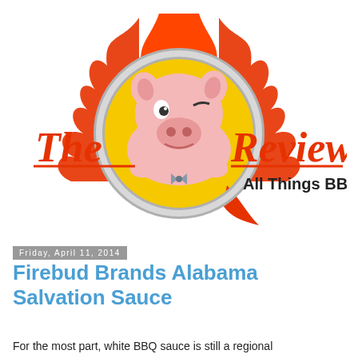[Figure (logo): The Q Review - All Things BBQ logo featuring a cartoon pig with flames and a large Q letter in red]
Friday, April 11, 2014
Firebud Brands Alabama Salvation Sauce
For the most part, white BBQ sauce is still a regional